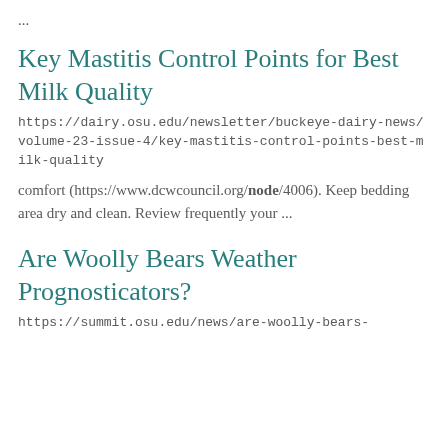...
Key Mastitis Control Points for Best Milk Quality
https://dairy.osu.edu/newsletter/buckeye-dairy-news/volume-23-issue-4/key-mastitis-control-points-best-milk-quality
comfort (https://www.dcwcouncil.org/node/4006). Keep bedding area dry and clean. Review frequently your ...
Are Woolly Bears Weather Prognosticators?
https://summit.osu.edu/news/are-woolly-bears-